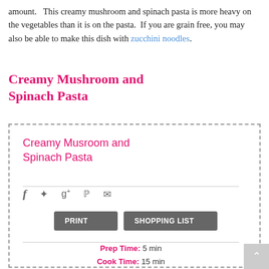amount.   This creamy mushroom and spinach pasta is more heavy on the vegetables than it is on the pasta.  If you are grain free, you may also be able to make this dish with zucchini noodles.
Creamy Mushroom and Spinach Pasta
Creamy Musroom and Spinach Pasta
Prep Time: 5 min
Cook Time: 15 min
Serves: